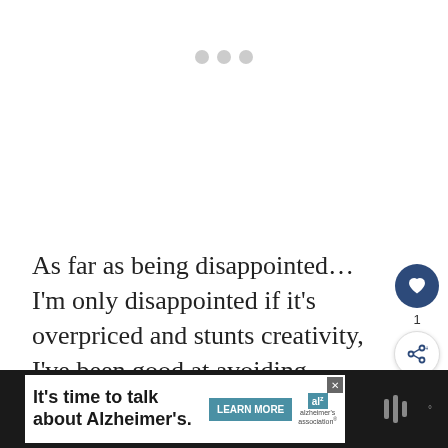[Figure (screenshot): Loading indicator with three gray dots centered in a white area]
As far as being disappointed... I'm only disappointed if it's overpriced and stunts creativity, I've been good at avoiding those lately.
[Figure (infographic): Floating action buttons: a dark blue circular heart/like button with count 1, and a white circular share button with plus icon]
[Figure (screenshot): Advertisement banner: 'It's time to talk about Alzheimer's.' with Learn More button and Alzheimer's Association logo, with close button and dark right section]